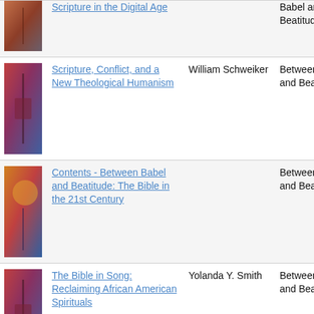| Image | Title | Author | Series |
| --- | --- | --- | --- |
| [image] | Scripture in the Digital Age |  | Babel and Beatitude |
| [image] | Scripture, Conflict, and a New Theological Humanism | William Schweiker | Between Babel and Beatitude |
| [image] | Contents - Between Babel and Beatitude: The Bible in the 21st Century |  | Between Babel and Beatitude |
| [image] | The Bible in Song: Reclaiming African American Spirituals | Yolanda Y. Smith | Between Babel and Beatitude |
| [image] | From the Editor, Self D... | Ray Waddle | Between Babel... |